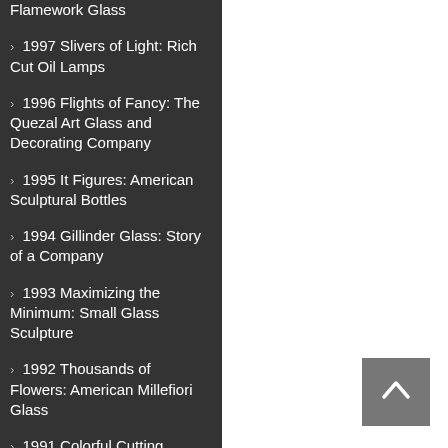Flamework Glass
1997 Slivers of Light: Rich Cut Oil Lamps
1996 Flights of Fancy: The Quezal Art Glass and Decorating Company
1995 It Figures: American Sculptural Bottles
1994 Gillinder Glass: Story of a Company
1993 Maximizing the Minimum: Small Glass Sculpture
1992 Thousands of Flowers: American Millefiori Glass
1991 Colorful Cutting